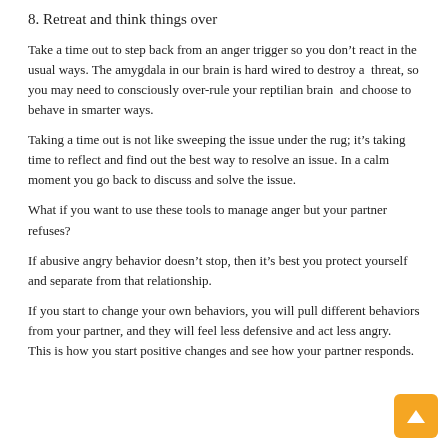8. Retreat and think things over
Take a time out to step back from an anger trigger so you don't react in the usual ways. The amygdala in our brain is hard wired to destroy a threat, so you may need to consciously over-rule your reptilian brain and choose to behave in smarter ways.
Taking a time out is not like sweeping the issue under the rug; it's taking time to reflect and find out the best way to resolve an issue. In a calm moment you go back to discuss and solve the issue.
What if you want to use these tools to manage anger but your partner refuses?
If abusive angry behavior doesn't stop, then it's best you protect yourself and separate from that relationship.
If you start to change your own behaviors, you will pull different behaviors from your partner, and they will feel less defensive and act less angry. This is how you start positive changes and see how your partner responds.